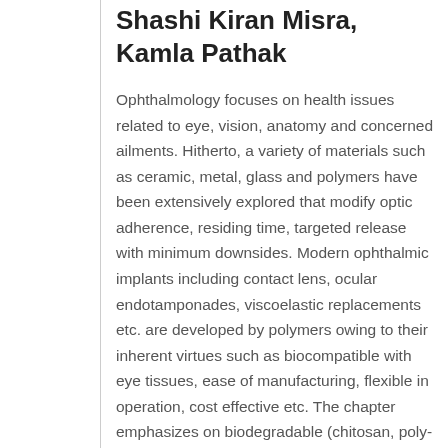Shashi Kiran Misra, Kamla Pathak
Ophthalmology focuses on health issues related to eye, vision, anatomy and concerned ailments. Hitherto, a variety of materials such as ceramic, metal, glass and polymers have been extensively explored that modify optic adherence, residing time, targeted release with minimum downsides. Modern ophthalmic implants including contact lens, ocular endotamponades, viscoelastic replacements etc. are developed by polymers owing to their inherent virtues such as biocompatible with eye tissues, ease of manufacturing, flexible in operation, cost effective etc. The chapter emphasizes on biodegradable (chitosan, poly-lactic acid) and non- biodegradable (PVA, silicones) polymeric ocular...